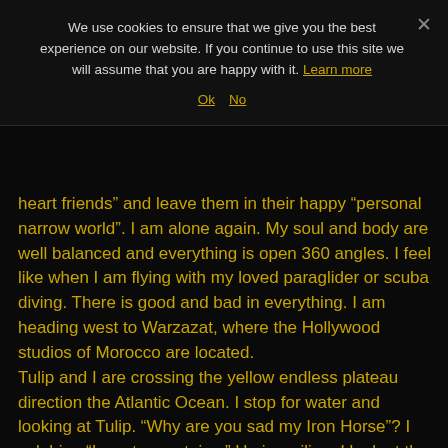We use cookies to ensure that we give you the best experience on our website. If you continue to use this site we will assume that you are happy with it. Learn more
Ok  No
heart friends” and leave them in their happy “personal narrow world”. I am alone again. My soul and body are well balanced and everything is open 360 angles. I feel like when I am flying with my loved paraglider or scuba diving. There is good and bad in everything. I am heading west to Warzazat, where the Hollywood studios of Morocco are located. Tulip and I are crossing the yellow endless plateau direction the Atlantic Ocean. I stop for water and looking at Tulip. “Why are you sad my Iron Horse”? I ask him. “I want mountains,” He is wailing. I look at the map and tell him that “Within 2 days we’ll breathe mountain tops air again”. I am smiling deep inside. “What a partner”